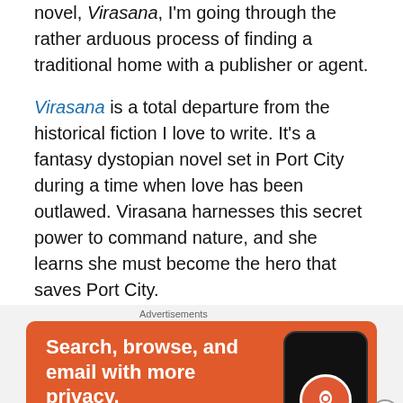novel, Virasana, I'm going through the rather arduous process of finding a traditional home with a publisher or agent.
Virasana is a total departure from the historical fiction I love to write. It's a fantasy dystopian novel set in Port City during a time when love has been outlawed. Virasana harnesses this secret power to command nature, and she learns she must become the hero that saves Port City.
Port City is a futuristic Portland, Oregon...where I've been living the past five years. So, there's your city as a character concept shining through yet again.
[Figure (screenshot): DuckDuckGo advertisement banner on orange background. Text reads: Search, browse, and email with more privacy. All in One Free App. Shows a phone with the DuckDuckGo logo.]